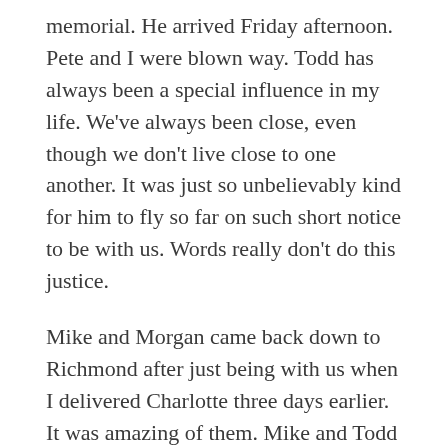memorial. He arrived Friday afternoon. Pete and I were blown way. Todd has always been a special influence in my life. We've always been close, even though we don't live close to one another. It was just so unbelievably kind for him to fly so far on such short notice to be with us. Words really don't do this justice.
Mike and Morgan came back down to Richmond after just being with us when I delivered Charlotte three days earlier. It was amazing of them. Mike and Todd helped string these cute, bistro lights on our back porch that I had wanted to be done for awhile now. They did this all in the oppressive, Virginia humidity. Gosh, it was so hot.
My Aunt Missy came down from Ohio and was so loving. She brought all these delicious pastries and